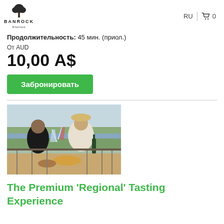BANROCK Station | RU | Cart 0
Продолжительность: 45 мин. (приол.)
От AUD
10,00 А$
Забронировать
[Figure (photo): Two women clinking wine glasses on an outdoor terrace with scenic landscape and river in background, food and wine bottle on table]
The Premium 'Regional' Tasting Experience